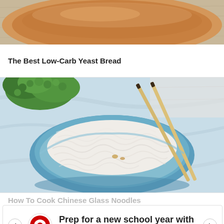[Figure (photo): Partial photo of a bread loaf on a wooden surface, cropped at top]
The Best Low-Carb Yeast Bread
[Figure (photo): Photo of a blue bowl filled with glass noodles/cellophane noodles and chopsticks, with curly parsley in the background on a light blue cloth]
How To Cook Chinese Glass Noodles
[Figure (other): Target advertisement banner: 'Prep for a new school year with your favorite home essentials']